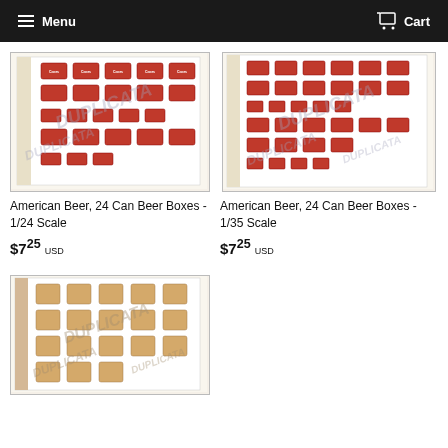Menu  Cart
[Figure (photo): Product sheet: American Beer 24 Can Beer Boxes 1/24 Scale — decal sheet with red beer box labels, watermarked DUPLICATA]
American Beer, 24 Can Beer Boxes - 1/24 Scale
$7.25 USD
[Figure (photo): Product sheet: American Beer 24 Can Beer Boxes 1/35 Scale — decal sheet with red beer box labels, watermarked DUPLICATA]
American Beer, 24 Can Beer Boxes - 1/35 Scale
$7.25 USD
[Figure (photo): Product sheet: tan/brown cardboard box labels decal sheet, watermarked DUPLICATA]